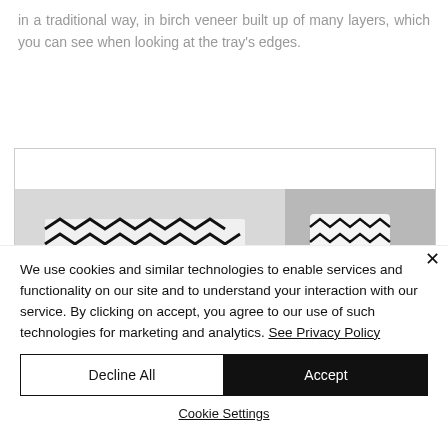in a traditional way, in birch veneer built up of many layers, which you can see when looking at the tray's edges.
[Figure (photo): Partial product photo showing items with black and white geometric/zigzag pattern on a light grey background, partially obscured by cookie consent overlay.]
We use cookies and similar technologies to enable services and functionality on our site and to understand your interaction with our service. By clicking on accept, you agree to our use of such technologies for marketing and analytics. See Privacy Policy
Decline All
Accept
Cookie Settings